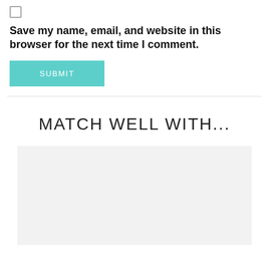[Figure (other): Small checkbox icon (unchecked)]
Save my name, email, and website in this browser for the next time I comment.
SUBMIT
MATCH WELL WITH...
[Figure (photo): Light gray image placeholder rectangle]